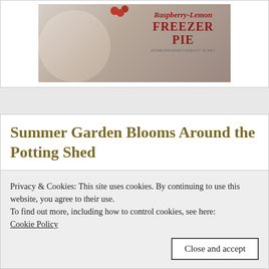[Figure (photo): Raspberry-Lemon Freezer Pie food photo with text overlay on floral background, website homeiswheretheboat is.net]
Summer Garden Blooms Around the Potting Shed
[Figure (photo): Green potting shed roof and white hydrangea blooms garden photos]
Privacy & Cookies: This site uses cookies. By continuing to use this website, you agree to their use.
To find out more, including how to control cookies, see here: Cookie Policy
Close and accept